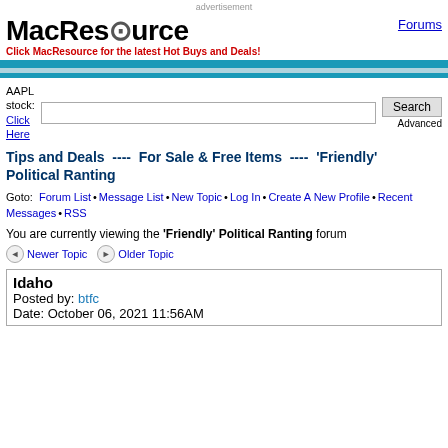advertisement
[Figure (logo): MacResource logo with magnifying glass icon and tagline 'Click MacResource for the latest Hot Buys and Deals!']
Forums
AAPL stock: Click Here
Tips and Deals  ----  For Sale & Free Items  ----  'Friendly' Political Ranting
Goto: Forum List • Message List • New Topic • Log In • Create A New Profile • Recent Messages • RSS
You are currently viewing the 'Friendly' Political Ranting forum
Newer Topic   Older Topic
Idaho
Posted by: btfc
Date: October 06, 2021 11:56AM